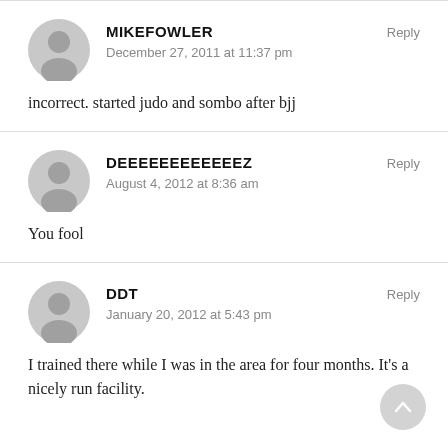MIKEFOWLER
December 27, 2011 at 11:37 pm
Reply
incorrect. started judo and sombo after bjj
DEEEEEEEEEEEEZ
August 4, 2012 at 8:36 am
Reply
You fool
DDT
January 20, 2012 at 5:43 pm
Reply
I trained there while I was in the area for four months. It's a nicely run facility.